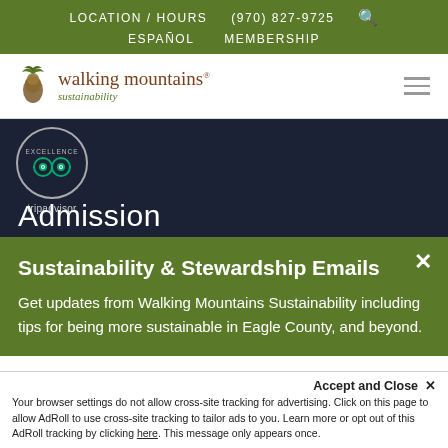LOCATION / HOURS   (970) 827-9725   ESPAÑOL   MEMBERSHIP
[Figure (logo): Walking Mountains Sustainability logo with pine cone icon]
[Figure (other): TripAdvisor Certificate of Excellence badge with owl icon]
Admission
Sustainability & Stewardship Emails
Get updates from Walking Mountains Sustainability including tips for being more sustainable in Eagle County, and beyond.
Your browser settings do not allow cross-site tracking for advertising. Click on this page to allow AdRoll to use cross-site tracking to tailor ads to you. Learn more or opt out of this AdRoll tracking by clicking here. This message only appears once.